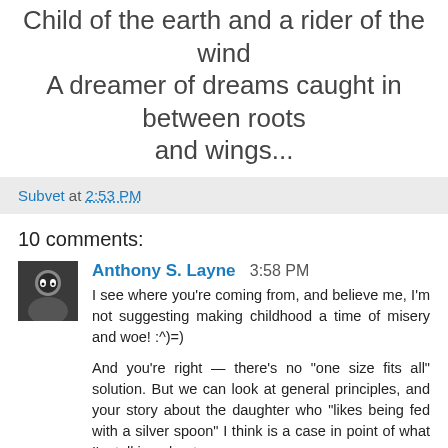Child of the earth and a rider of the wind A dreamer of dreams caught in between roots and wings...
Subvet at 2:53 PM
10 comments:
Anthony S. Layne 3:58 PM
I see where you're coming from, and believe me, I'm not suggesting making childhood a time of misery and woe! :^)=)

And you're right — there's no "one size fits all" solution. But we can look at general principles, and your story about the daughter who "likes being fed with a silver spoon" I think is a case in point of what I'm talking about.

There's a severe imbalance between the "not enough play time" of the older generation of adults and the "too much